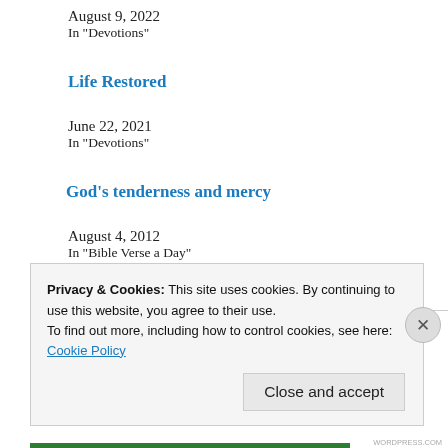August 9, 2022
In "Devotions"
Life Restored
June 22, 2021
In "Devotions"
God's tenderness and mercy
August 4, 2012
In "Bible Verse a Day"
Privacy & Cookies: This site uses cookies. By continuing to use this website, you agree to their use.
To find out more, including how to control cookies, see here:
Cookie Policy
Close and accept